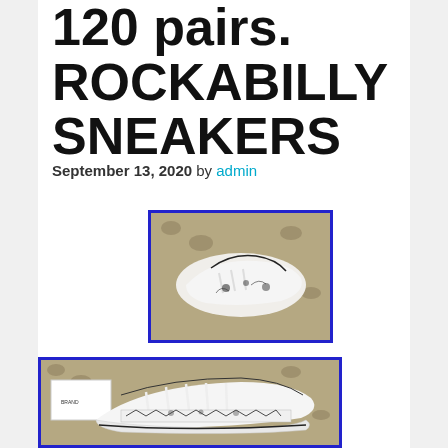120 pairs. ROCKABILLY SNEAKERS
September 13, 2020 by admin
[Figure (photo): Small thumbnail photo of white sneakers with black floral/paisley print pattern, shown on leopard print background, with blue border]
[Figure (photo): Larger photo of white low-top canvas sneakers with black graphic print pattern, shown with box on leopard print background, with blue border]